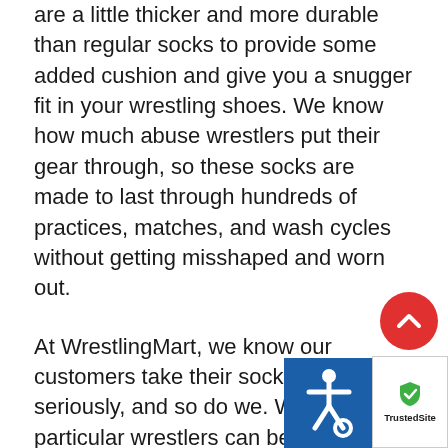are a little thicker and more durable than regular socks to provide some added cushion and give you a snugger fit in your wrestling shoes. We know how much abuse wrestlers put their gear through, so these socks are made to last through hundreds of practices, matches, and wash cycles without getting misshaped and worn out.
At WrestlingMart, we know our customers take their sock game very seriously, and so do we. We know how particular wrestlers can be about their socks because they are such a crucial part of the gear you use every day for training and competition. That is why we designed our socks to have all the qualities any great wrestlers look for in a pair of socks: quality, comfort, durability, performance, style, and affordability. Our socks are the perfect fit for male and female wrestlers at any level from youth and high school wrestlers to Olympic Gold medalists. In this sport, footwork and movement is paramount. You need something that can keep up with you through all your foot-fi...
[Figure (other): Red circular scroll-to-top button with upward chevron arrow]
[Figure (other): Blue accessibility icon (wheelchair symbol) and TrustedSite badge in bottom right corner]